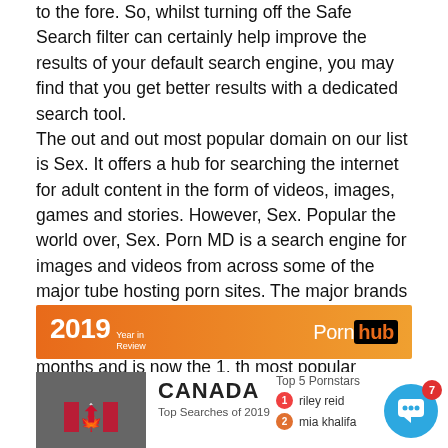to the fore. So, whilst turning off the Safe Search filter can certainly help improve the results of your default search engine, you may find that you get better results with a dedicated search tool. The out and out most popular domain on our list is Sex. It offers a hub for searching the internet for adult content in the form of videos, images, games and stories. However, Sex. Popular the world over, Sex. Porn MD is a search engine for images and videos from across some of the major tube hosting porn sites. The major brands that are crawled include:. The popularity of PornMD has been growing over the last six months and is now the 1, th most popular website globally and is ranked in the top websites in the USA.
[Figure (screenshot): Pornhub 2019 Year in Review banner with orange gradient background, bold '2019' and 'Year in Review' text on the left, and 'Pornhub' logo on the right with 'hub' in a black rounded box.]
[Figure (screenshot): Pornhub 2019 Year in Review Canada section showing a grey flag box with Canada arrow-up maple leaf icon, 'CANADA' title, 'Top Searches of 2019' subtitle, and Top 5 Pornstars list with '1 riley reid' and '2 mia khalifa', plus a blue chat bubble in the bottom right with a '7' badge.]